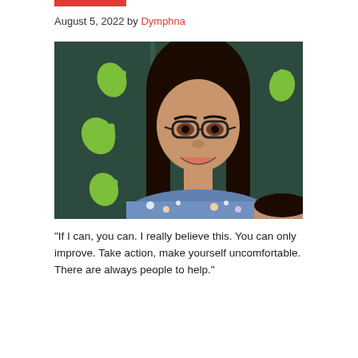August 5, 2022 by Dymphna
[Figure (photo): A smiling woman with long black hair and glasses, wearing a floral blouse, standing in front of a dark green wall decorated with green hand print cutouts. Part of another person is visible at the bottom right.]
"If I can, you can. I really believe this. You can only improve. Take action, make yourself uncomfortable. There are always people to help."